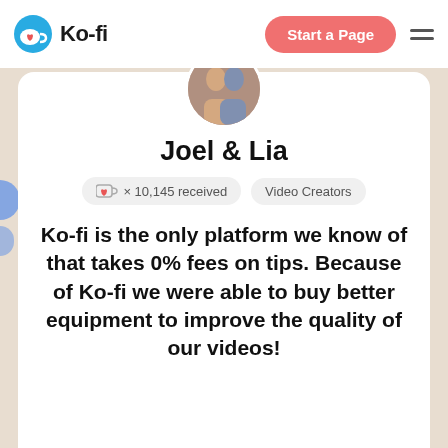Ko-fi — Start a Page
Joel & Lia
× 10,145 received   Video Creators
Ko-fi is the only platform we know of that takes 0% fees on tips. Because of Ko-fi we were able to buy better equipment to improve the quality of our videos!